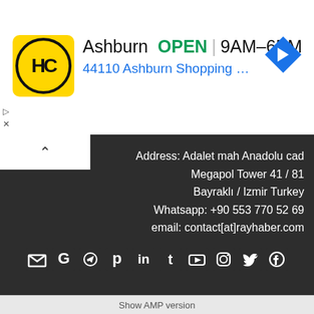[Figure (screenshot): Ad banner: HC logo on yellow background, 'Ashburn OPEN 9AM–6PM' and '44110 Ashburn Shopping Plaza 190, A...' with blue navigation arrow icon]
Address: Adalet mah Anadolu cad
Megapol Tower 41 / 81
Bayraklı / Izmir Turkey
Whatsapp: +90 553 770 52 69
email: contact[at]rayhaber.com
[Figure (infographic): Row of social media icons: email, Google, Telegram, Pinterest, LinkedIn, Tumblr, YouTube, Instagram, Twitter, Facebook]
Privacy and Cookies: This site uses cookies. By continuing to use this website, you agree to their use.
For more information on how to check cookies, see here: Cookie Policy
OK
Show AMP version